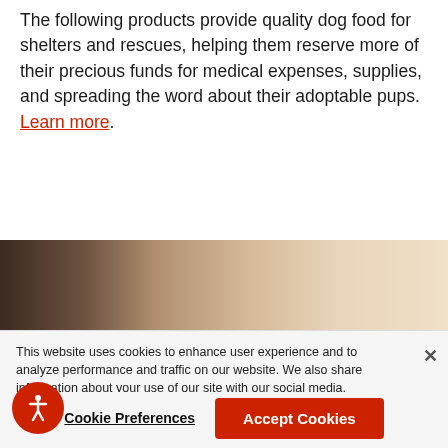The following products provide quality dog food for shelters and rescues, helping them reserve more of their precious funds for medical expenses, supplies, and spreading the word about their adoptable pups. Learn more.
[Figure (photo): Close-up photo of a dark and light colored dog, mostly showing fur in dark brown/black and cream/beige tones.]
This website uses cookies to enhance user experience and to analyze performance and traffic on our website. We also share information about your use of our site with our social media, advertising and analytics partners. By accepting cookies, you are also agreeing to accept our site terms and conditions. Terms & Conditions
Cookie Preferences
Accept Cookies